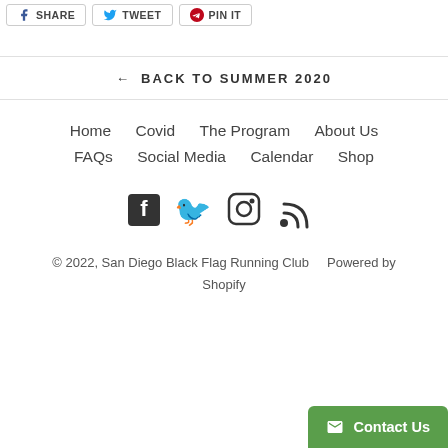SHARE   TWEET   PIN IT
← BACK TO SUMMER 2020
Home   Covid   The Program   About Us   FAQs   Social Media   Calendar   Shop
[Figure (other): Social media icons: Facebook, Twitter, Instagram, RSS feed]
© 2022, San Diego Black Flag Running Club   Powered by Shopify
Contact Us